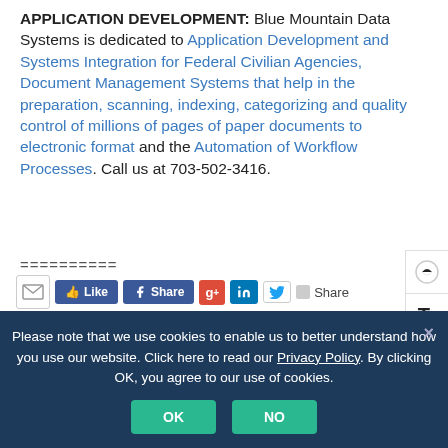APPLICATION DEVELOPMENT: Blue Mountain Data Systems is dedicated to Application Development and Systems Integration for Federal Civilian Agencies, Document Management Systems that help in the preparation, scanning, indexing, categorizing and quality control of millions of pages of paper documents to electronic format and the Automation of Workflow Processes. Call us at 703-502-3416.
==========
[Figure (other): Social sharing bar with email icon, Facebook Like button, Facebook Share button, Google+ button, LinkedIn button, Twitter button, and Share text with icon]
Tagged on:  a data silo is a repository of fixed data that is
Please note that we use cookies to enable us to better understand how you use our website. Click here to read our Privacy Policy. By clicking OK, you agree to our use of cookies.